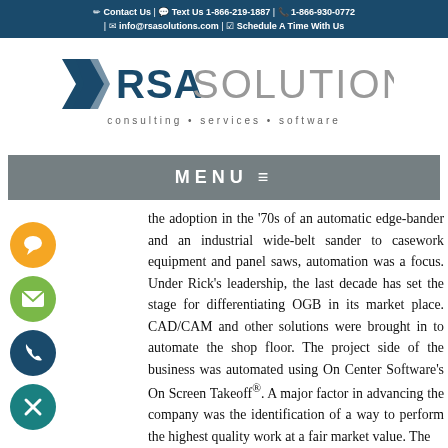Contact Us | Text Us 1-866-219-1887 | 1-866-930-0772 | info@rsasolutions.com | Schedule A Time With Us
[Figure (logo): RSA Solutions logo with blue chevron icon, bold RSA in dark blue, SOLUTIONS in gray, tagline: consulting • services • software]
MENU ≡
the adoption in the '70s of an automatic edge-bander and an industrial wide-belt sander to casework equipment and panel saws, automation was a focus. Under Rick's leadership, the last decade has set the stage for differentiating OGB in its market place. CAD/CAM and other solutions were brought in to automate the shop floor. The project side of the business was automated using On Center Software's On Screen Takeoff®. A major factor in advancing the company was the identification of a way to perform the highest quality work at a fair market value. The